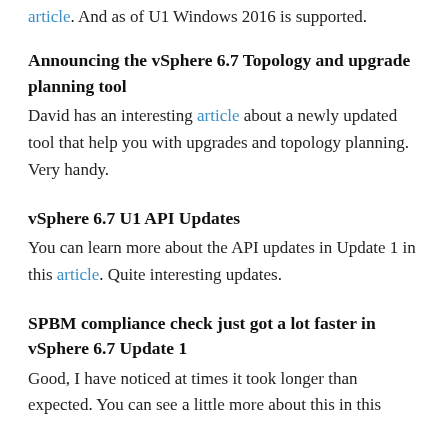article.  And as of U1 Windows 2016 is supported.
Announcing the vSphere 6.7 Topology and upgrade planning tool
David has an interesting article about a newly updated tool that help you with upgrades and topology planning.  Very handy.
vSphere 6.7 U1 API Updates
You can learn more about the API updates in Update 1 in this article. Quite interesting updates.
SPBM compliance check just got a lot faster in vSphere 6.7 Update 1
Good, I have noticed at times it took longer than expected.  You can see a little more about this in this